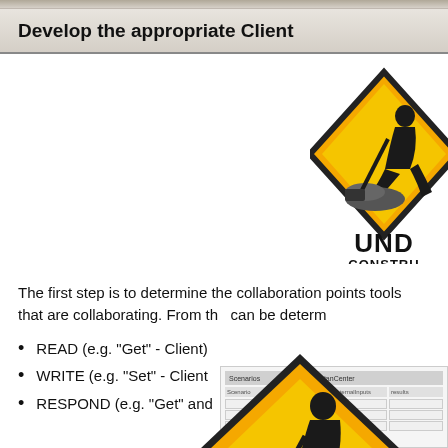Develop the appropriate Client
[Figure (illustration): Under Construction sign with worker silhouette, top-right corner, partially cropped]
The first step is to determine the collaboration points tools that are collaborating. From th can be determ
READ (e.g. "Get" - Client)
WRITE (e.g. "Set" - Client
RESPOND (e.g. "Get" and side res
[Figure (illustration): Under Construction sign with worker silhouette, center of page, larger version]
[Figure (screenshot): Software screenshot showing Scenarios panel with TitanCenter and internalInputs/results columns]